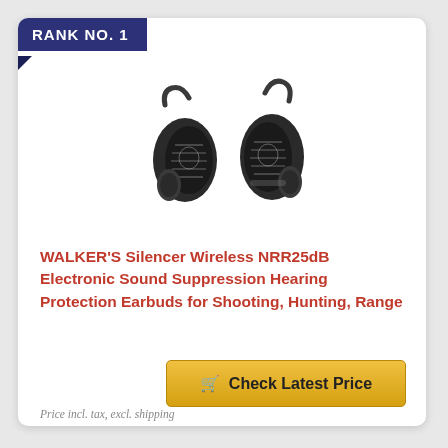RANK NO. 1
[Figure (photo): Two black wireless earbuds (Walker's Silencer) with ear hooks, shown side by side against white background]
WALKER'S Silencer Wireless NRR25dB Electronic Sound Suppression Hearing Protection Earbuds for Shooting, Hunting, Range
🛒 Check Latest Price
Price incl. tax, excl. shipping